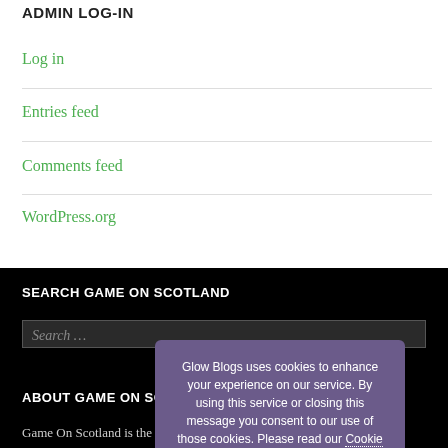ADMIN LOG-IN
Log in
Entries feed
Comments feed
WordPress.org
SEARCH GAME ON SCOTLAND
ABOUT GAME ON SCOTLAND
Game On Scotland is the official destination for the ...
Glow Blogs uses cookies to enhance your experience on our service. By using this service or closing this message you consent to our use of those cookies. Please read our Cookie Policy.
OK